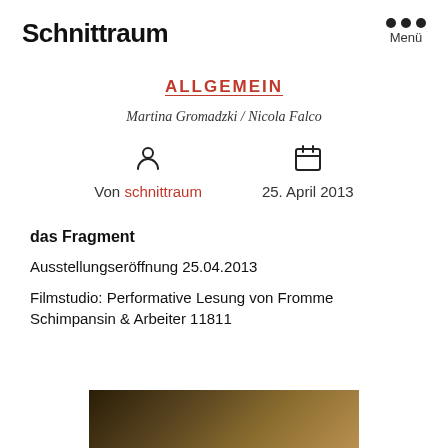Schnittraum
ALLGEMEIN
Martina Gromadzki / Nicola Falco
Von schnittraum   25. April 2013
das Fragment
Ausstellungseröffnung 25.04.2013
Filmstudio: Performative Lesung von Fromme Schimpansin & Arbeiter 11811
[Figure (photo): Dark brown/gold toned image at bottom of page, partial view]